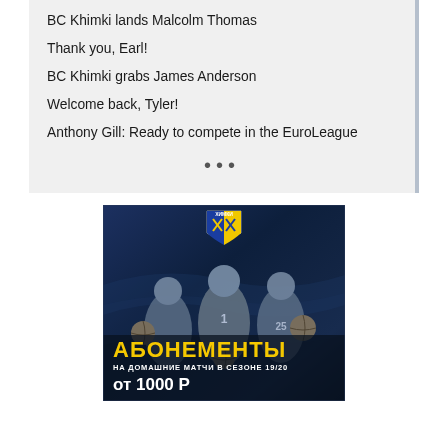BC Khimki lands Malcolm Thomas
Thank you, Earl!
BC Khimki grabs James Anderson
Welcome back, Tyler!
Anthony Gill: Ready to compete in the EuroLeague
•••
[Figure (photo): BC Khimki basketball club promotional image featuring three players holding basketballs with Cyrillic text: АБОНЕМЕНТЫ (Season tickets), НА ДОМАШНИЕ МАТЧИ В СЕЗОНЕ 19/20 (For home games in season 19/20), от 1000 Р (from 1000 rubles). Club logo visible at top.]